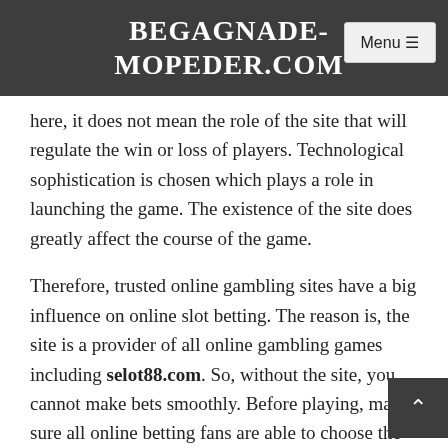BEGAGNADE-MOPEDER.COM
here, it does not mean the role of the site that will regulate the win or loss of players. Technological sophistication is chosen which plays a role in launching the game. The existence of the site does greatly affect the course of the game.
Therefore, trusted online gambling sites have a big influence on online slot betting. The reason is, the site is a provider of all online gambling games including selot88.com. So, without the site, you cannot make bets smoothly. Before playing, make sure all online betting fans are able to choose the best